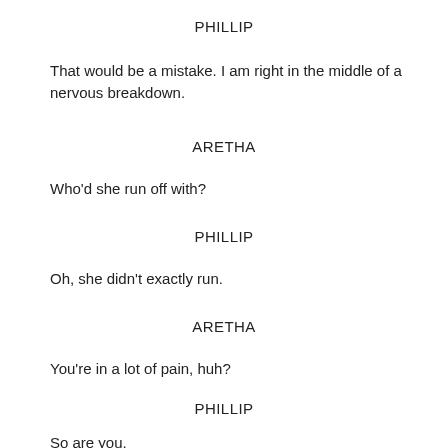PHILLIP
That would be a mistake. I am right in the middle of a nervous breakdown.
ARETHA
Who'd she run off with?
PHILLIP
Oh, she didn't exactly run.
ARETHA
You're in a lot of pain, huh?
PHILLIP
So are you.